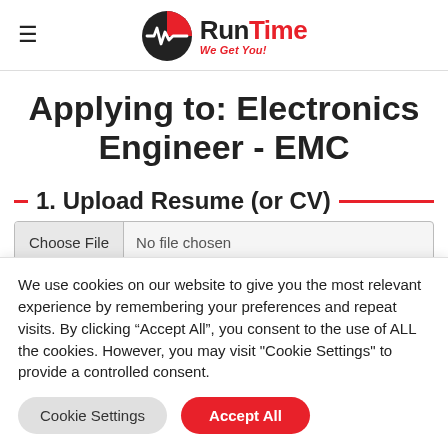RunTime - We Get You! (logo with hamburger menu)
Applying to: Electronics Engineer - EMC
1. Upload Resume (or CV)
[Figure (screenshot): File input widget showing 'Choose File' button and 'No file chosen' text]
We use cookies on our website to give you the most relevant experience by remembering your preferences and repeat visits. By clicking “Accept All”, you consent to the use of ALL the cookies. However, you may visit "Cookie Settings" to provide a controlled consent.
Cookie Settings | Accept All